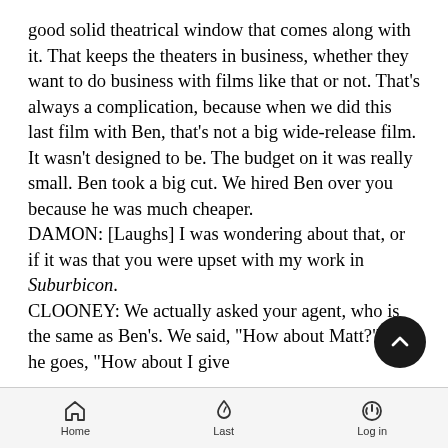good solid theatrical window that comes along with it. That keeps the theaters in business, whether they want to do business with films like that or not. That's always a complication, because when we did this last film with Ben, that's not a big wide-release film. It wasn't designed to be. The budget on it was really small. Ben took a big cut. We hired Ben over you because he was much cheaper.
DAMON: [Laughs] I was wondering about that, or if it was that you were upset with my work in Suburbicon.
CLOONEY: We actually asked your agent, who is the same as Ben's. We said, "How about Matt?" And he goes, "How about I give
Home  Last  Log in